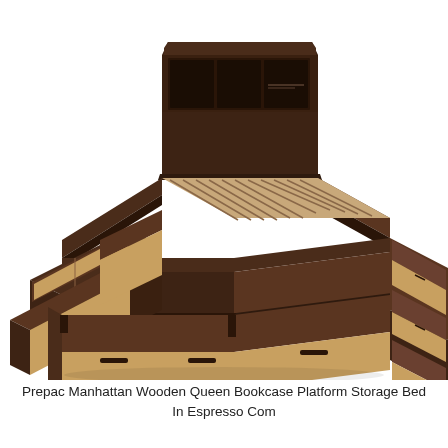[Figure (photo): Product photo of a Prepac Manhattan Wooden Queen Bookcase Platform Storage Bed in Espresso finish. The bed frame is dark espresso brown with multiple under-bed storage drawers pulled open on both sides and the foot, revealing natural wood interiors. The headboard features built-in open shelving/bookcase cubbies. The bed frame shows wooden slat support and no mattress.]
Prepac Manhattan Wooden Queen Bookcase Platform Storage Bed In Espresso Com